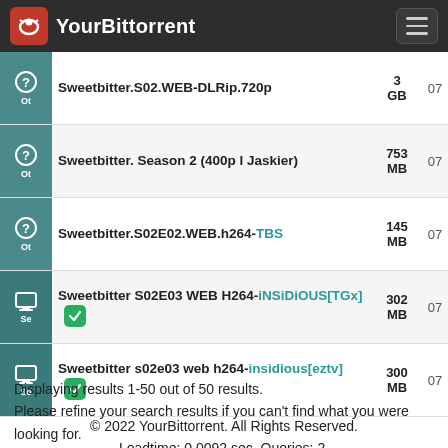YourBittorrent
| Icon | Name | Size | Num |
| --- | --- | --- | --- |
| Other | Sweetbitter.S02.WEB-DLRip.720p | 3 GB | 07 |
| Other | Sweetbitter. Season 2 (400p l Jaskier) | 753 MB | 07 |
| Other | Sweetbitter.S02E02.WEB.h264-TBS | 145 MB | 07 |
| Series | Sweetbitter S02E03 WEB H264-iNSiDiOUS[TGx] ✓ | 302 MB | 07 |
| Series | Sweetbitter s02e03 web h264-insidious[eztv] ✓ | 300 MB | 07 |
Displaying results 1-50 out of 50 results.
Please refine your search results if you can't find what you were looking for.
© 2022 YourBittorrent. All Rights Reserved.
Loadtime: 0.0092 sec. Queries: 2.